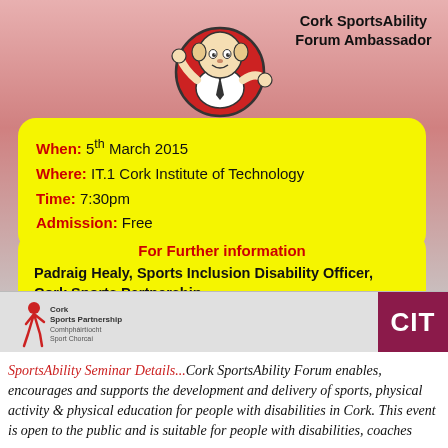Cork SportsAbility Forum Ambassador
When: 5th March 2015
Where: IT.1 Cork Institute of Technology
Time: 7:30pm
Admission: Free
For Further information
Padraig Healy, Sports Inclusion Disability Officer, Cork Sports Partnership
phealy@corksports.ie    086-7947923
[Figure (logo): Cork Sports Partnership logo with running figure]
[Figure (logo): CIT logo - white text on dark red/maroon background]
SportsAbility Seminar Details...Cork SportsAbility Forum enables, encourages and supports the development and delivery of sports, physical activity & physical education for people with disabilities in Cork. This event is open to the public and is suitable for people with disabilities, coaches